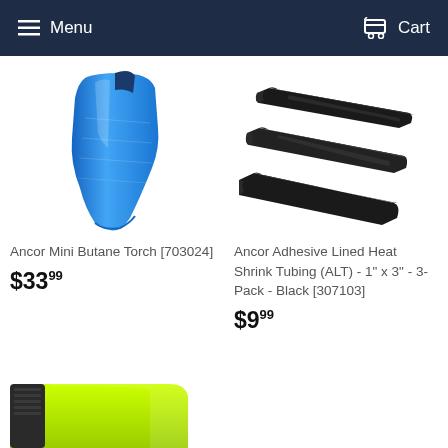Menu   Cart
[Figure (photo): Blue Ancor Mini Butane Torch product photo]
Ancor Mini Butane Torch [703024]
$33.99
[Figure (photo): Black Ancor Adhesive Lined Heat Shrink Tubing product photo]
Ancor Adhesive Lined Heat Shrink Tubing (ALT) - 1" x 3" - 3-Pack - Black [307103]
$9.99
[Figure (photo): Yellow-green flashlight partially visible at bottom of page]